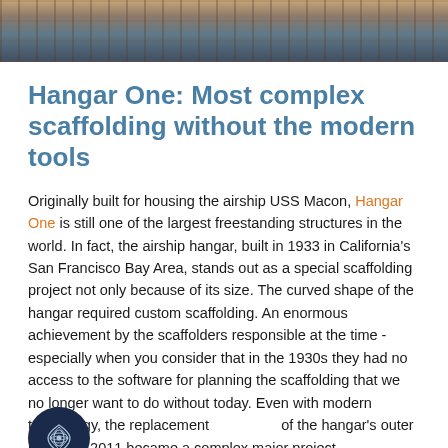[Figure (photo): Aerial or cityscape photo strip showing urban buildings, used as a decorative header image]
Hangar One: Most complex scaffolding without the modern tools
Originally built for housing the airship USS Macon, Hangar One is still one of the largest freestanding structures in the world. In fact, the airship hangar, built in 1933 in California's San Francisco Bay Area, stands out as a special scaffolding project not only because of its size. The curved shape of the hangar required custom scaffolding. An enormous achievement by the scaffolders responsible at the time - especially when you consider that in the 1930s they had no access to the software for planning the scaffolding that we no longer want to do without today. Even with modern technology, the replacement of the hangar's outer panels in 2011 became a complex major project.